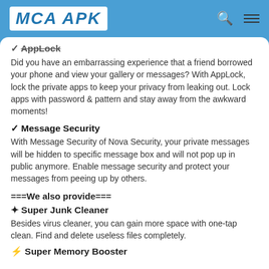MCA APK
✓ AppLock
Did you have an embarrassing experience that a friend borrowed your phone and view your gallery or messages? With AppLock, lock the private apps to keep your privacy from leaking out. Lock apps with password & pattern and stay away from the awkward moments!
✓ Message Security
With Message Security of Nova Security, your private messages will be hidden to specific message box and will not pop up in public anymore. Enable message security and protect your messages from peeing up by others.
===We also provide===
✦ Super Junk Cleaner
Besides virus cleaner, you can gain more space with one-tap clean. Find and delete useless files completely.
⚡ Super Memory Booster